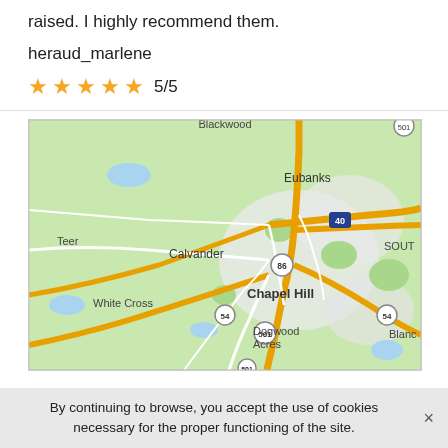raised. I highly recommend them.
heraud_marlene
★★★★★ 5/5
[Figure (map): Google Maps showing Chapel Hill area with surrounding communities including Teer, Eubanks, Calvander, White Cross, Dogwood Acres, Blackwood, and roads including routes 40, 86, 54, 501.]
By continuing to browse, you accept the use of cookies necessary for the proper functioning of the site.